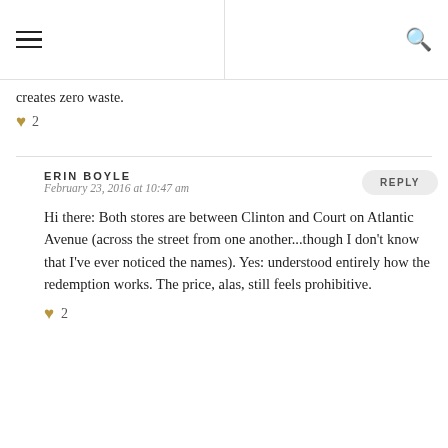creates zero waste.
♥ 2
ERIN BOYLE
February 23, 2016 at 10:47 am
Hi there: Both stores are between Clinton and Court on Atlantic Avenue (across the street from one another...though I don't know that I've ever noticed the names). Yes: understood entirely how the redemption works. The price, alas, still feels prohibitive.
♥ 2